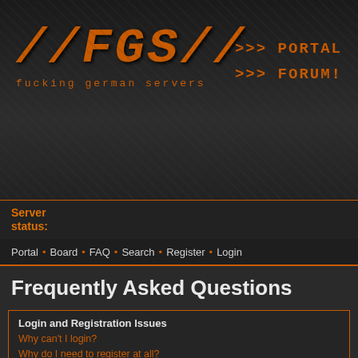[Figure (logo): FGS logo with stylized text //FGS// and subtitle 'fucking german servers', with navigation links >>> PORTAL and >>> FORUM!]
Server status:
Portal • Board • FAQ • Search • Register • Login
Frequently Asked Questions
Login and Registration Issues
Why can't I login?
Why do I need to register at all?
Why do I get logged off automatically?
How do I prevent my username appearing in the online user listings?
I've lost my password!
I registered but cannot login!
I registered in the past but cannot login any more?!
What is COPPA?
Why can't I register?
What does the "Delete all board cookies" do?
User Preferences and settings
How do I change my settings?